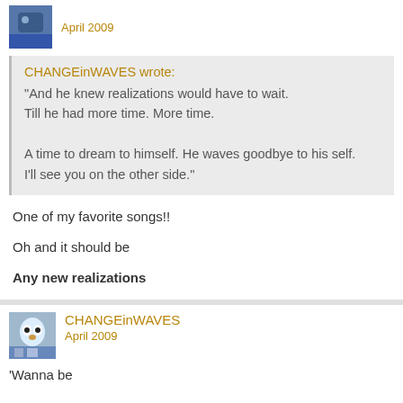[Figure (photo): User avatar thumbnail - blue toned image]
April 2009
CHANGEinWAVES wrote:
"And he knew realizations would have to wait.
Till he had more time. More time.

A time to dream to himself. He waves goodbye to his self.
I'll see you on the other side."
One of my favorite songs!!
Oh and it should be
Any new realizations
[Figure (photo): User avatar thumbnail - owl image, colorful]
CHANGEinWAVES
April 2009
'Wanna be